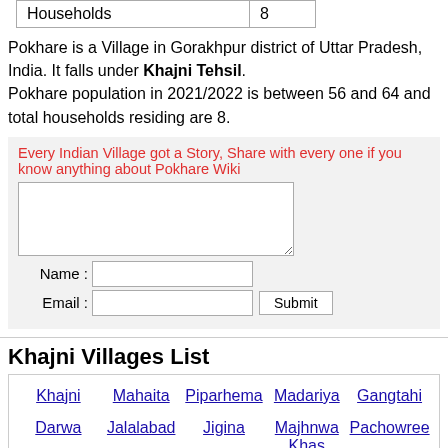| Households | 8 |
| --- | --- |
Pokhare is a Village in Gorakhpur district of Uttar Pradesh, India. It falls under Khajni Tehsil. Pokhare population in 2021/2022 is between 56 and 64 and total households residing are 8.
Every Indian Village got a Story, Share with every one if you know anything about Pokhare Wiki
Khajni Villages List
Khajni
Mahaita
Piparhema
Madariya
Gangtahi
Darwa
Jalalabad
Jigina
Majhnwa Khas
Pachowree